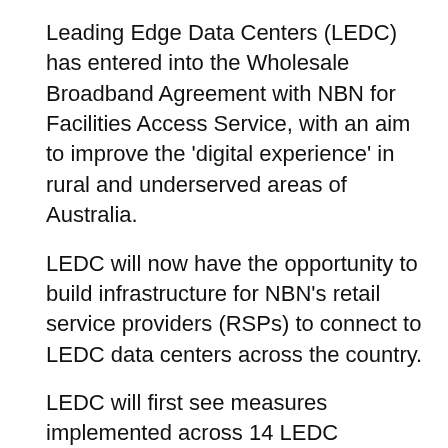Leading Edge Data Centers (LEDC) has entered into the Wholesale Broadband Agreement with NBN for Facilities Access Service, with an aim to improve the 'digital experience' in rural and underserved areas of Australia.
LEDC will now have the opportunity to build infrastructure for NBN's retail service providers (RSPs) to connect to LEDC data centers across the country.
LEDC will first see measures implemented across 14 LEDC locations in New South Wales, with later roll-outs in Victoria and Queensland.
The agreement will also help bolster LEDC's strategy to accelerate connectivity to other digital infrastructure in the regions, with a goal to decrease local businesses' reliance on backhaul networks, reach higher bandwidth and improve download